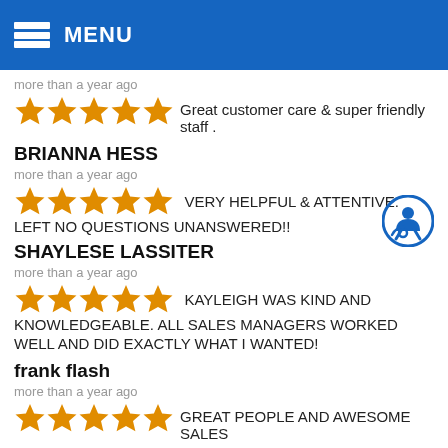MENU
more than a year ago
Great customer care & super friendly staff .
BRIANNA HESS
more than a year ago
VERY HELPFUL & ATTENTIVE. LEFT NO QUESTIONS UNANSWERED!!
SHAYLESE LASSITER
more than a year ago
KAYLEIGH WAS KIND AND KNOWLEDGEABLE. ALL SALES MANAGERS WORKED WELL AND DID EXACTLY WHAT I WANTED!
frank flash
more than a year ago
GREAT PEOPLE AND AWESOME SALES